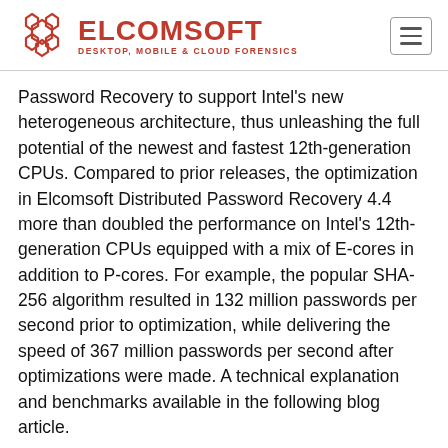[Figure (logo): Elcomsoft logo with hexagonal icon and text ELCOMSOFT DESKTOP, MOBILE & CLOUD FORENSICS in red]
Password Recovery to support Intel's new heterogeneous architecture, thus unleashing the full potential of the newest and fastest 12th-generation CPUs. Compared to prior releases, the optimization in Elcomsoft Distributed Password Recovery 4.4 more than doubled the performance on Intel's 12th-generation CPUs equipped with a mix of E-cores in addition to P-cores. For example, the popular SHA-256 algorithm resulted in 132 million passwords per second prior to optimization, while delivering the speed of 367 million passwords per second after optimizations were made. A technical explanation and benchmarks available in the following blog article.
In addition, we made some fixes and several optimizations to make password recovery attacks